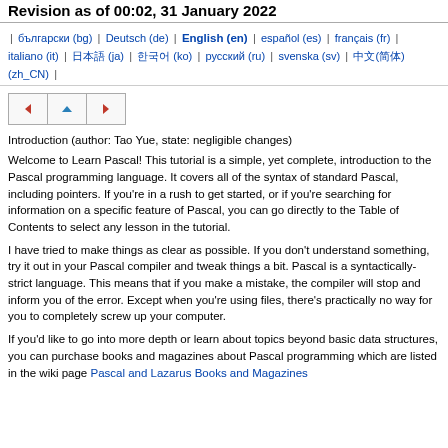Revision as of 00:02, 31 January 2022
| български (bg) | Deutsch (de) | English (en) | español (es) | français (fr) | italiano (it) | 日本語 (ja) | 한국어 (ko) | русский (ru) | svenska (sv) | 中文(简体) (zh_CN) |
[Figure (other): Navigation buttons: left arrow, up arrow, right arrow]
Introduction (author: Tao Yue, state: negligible changes)
Welcome to Learn Pascal! This tutorial is a simple, yet complete, introduction to the Pascal programming language. It covers all of the syntax of standard Pascal, including pointers. If you're in a rush to get started, or if you're searching for information on a specific feature of Pascal, you can go directly to the Table of Contents to select any lesson in the tutorial.
I have tried to make things as clear as possible. If you don't understand something, try it out in your Pascal compiler and tweak things a bit. Pascal is a syntactically-strict language. This means that if you make a mistake, the compiler will stop and inform you of the error. Except when you're using files, there's practically no way for you to completely screw up your computer.
If you'd like to go into more depth or learn about topics beyond basic data structures, you can purchase books and magazines about Pascal programming which are listed in the wiki page Pascal and Lazarus Books and Magazines